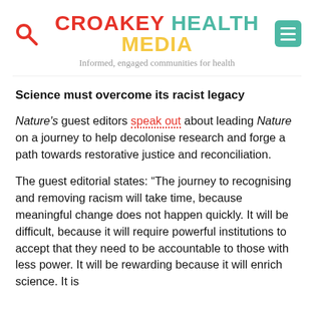CROAKEY HEALTH MEDIA — Informed, engaged communities for health
Science must overcome its racist legacy
Nature's guest editors speak out about leading Nature on a journey to help decolonise research and forge a path towards restorative justice and reconciliation.
The guest editorial states: “The journey to recognising and removing racism will take time, because meaningful change does not happen quickly. It will be difficult, because it will require powerful institutions to accept that they need to be accountable to those with less power. It will be rewarding because it will enrich science. It is